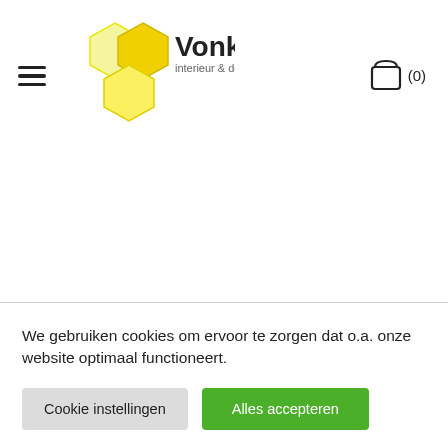[Figure (logo): Vonk interieur & design logo with yellow honeycomb hexagons and text]
We gebruiken cookies om ervoor te zorgen dat o.a. onze website optimaal functioneert.
Cookie instellingen
Alles accepteren